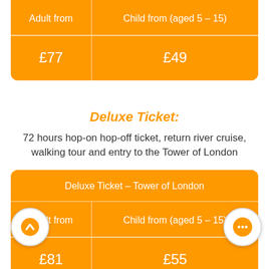| Adult from | Child from (aged 5 – 15) |
| --- | --- |
| £77 | £49 |
Deluxe Ticket:
72 hours hop-on hop-off ticket, return river cruise, walking tour and entry to the Tower of London
| Deluxe Ticket – Tower of London |
| --- |
| Adult from | Child from (aged 5 – 15) |
| £81 | £55 |